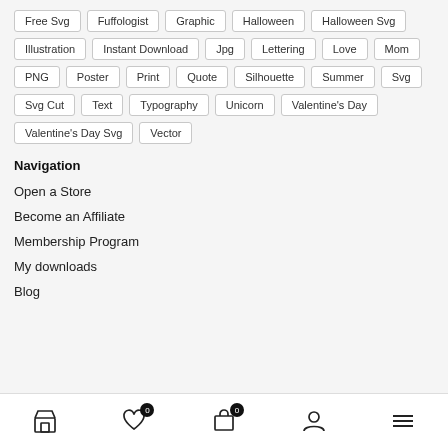Free Svg
Fuffologist
Graphic
Halloween
Halloween Svg
Illustration
Instant Download
Jpg
Lettering
Love
Mom
PNG
Poster
Print
Quote
Silhouette
Summer
Svg
Svg Cut
Text
Typography
Unicorn
Valentine's Day
Valentine's Day Svg
Vector
Navigation
Open a Store
Become an Affiliate
Membership Program
My downloads
Blog